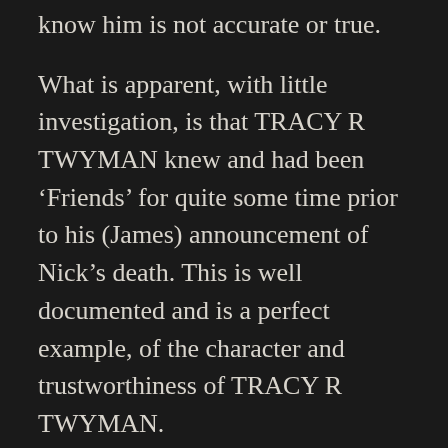know him is not accurate or true.
What is apparent, with little investigation, is that TRACY R TWYMAN knew and had been ‘Friends’ for quite some time prior to his (James) announcement of Nick’s death. This is well documented and is a perfect example, of the character and trustworthiness of TRACY R TWYMAN.
ROYAL PREROGATIVE
The right to Nick’s Sovereignty is evident and verifiable with a bit of due diligence by the seeker and minimal effort by any mundane reader of his work. The ‘Sovereign Grand